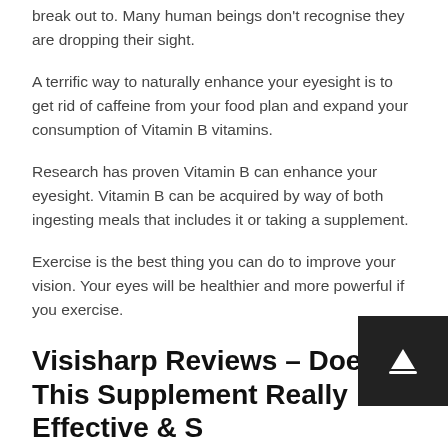break out to.  Many human beings don't recognise they are dropping their sight.
A terrific way to naturally enhance your eyesight is to get rid of caffeine from your food plan and expand your consumption of Vitamin B vitamins.
Research has proven Vitamin B can enhance your eyesight.  Vitamin B can be acquired by way of both ingesting meals that includes it or taking a supplement.
Exercise is the best thing you can do to improve your vision. Your eyes will be healthier and more powerful if you exercise.
Visisharp Reviews – Does This Supplement Really Effective & S…
Exercise increases circulation and blood flow to your eyes. This